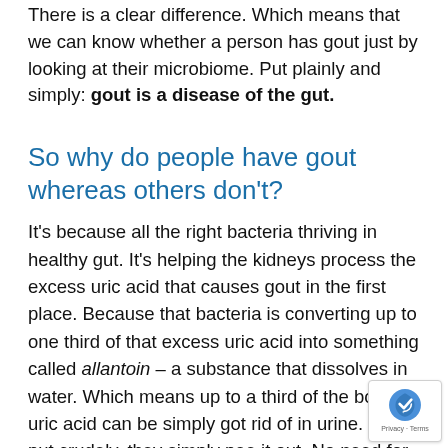There is a clear difference. Which means that we can know whether a person has gout just by looking at their microbiome. Put plainly and simply: gout is a disease of the gut.
So why do people have gout whereas others don't?
It's because all the right bacteria thriving in healthy gut. It's helping the kidneys process the excess uric acid that causes gout in the first place. Because that bacteria is converting up to one third of that excess uric acid into something called allantoin – a substance that dissolves in water. Which means up to a third of the body's uric acid can be simply got rid of in urine. So, put crudely, they simply pee it out. No need for my kidneys